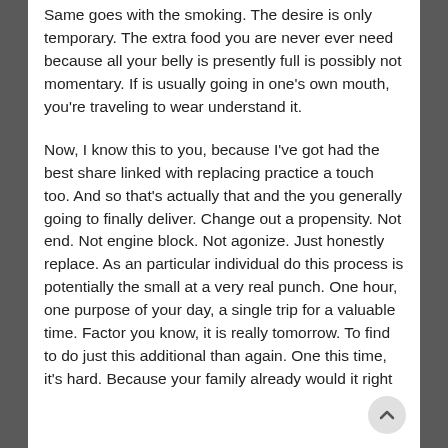Same goes with the smoking. The desire is only temporary. The extra food you are never ever need because all your belly is presently full is possibly not momentary. If is usually going in one’s own mouth, you’re traveling to wear understand it.
Now, I know this to you, because I’ve got had the best share linked with replacing practice a touch too. And so that’s actually that and the you generally going to finally deliver. Change out a propensity. Not end. Not engine block. Not agonize. Just honestly replace. As an particular individual do this process is potentially the small at a very real punch. One hour, one purpose of your day, a single trip for a valuable time. Factor you know, it is really tomorrow. To find to do just this additional than again. One this time, it’s hard. Because your family already would it right